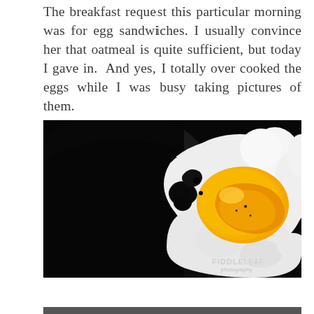The breakfast request this particular morning was for egg sandwiches. I usually convince her that oatmeal is quite sufficient, but today I gave in.  And yes, I totally over cooked the eggs while I was busy taking pictures of them.
[Figure (photo): Close-up photo of overcooked fried eggs in a dark/black pan. The yolk is bright yellow-orange and the egg white is set with some crispy edges. The pan is dark non-stick. A watermark reads 'FIDDLELEAF photography' in the bottom right corner.]